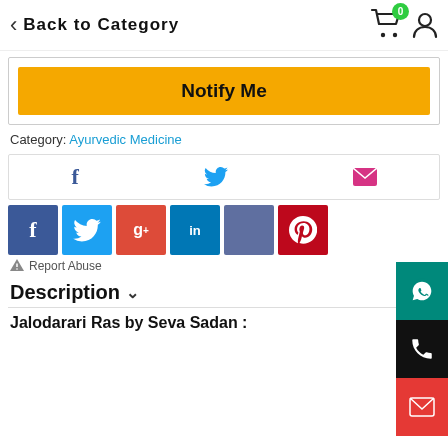< Back to Category
Notify Me
Category: Ayurvedic Medicine
[Figure (screenshot): Social share row with Facebook, Twitter, and email icons]
[Figure (screenshot): Social media icon buttons: Facebook, Twitter, Google+, LinkedIn, Share, Pinterest]
Report Abuse
Description
Jalodarari Ras by Seva Sadan :